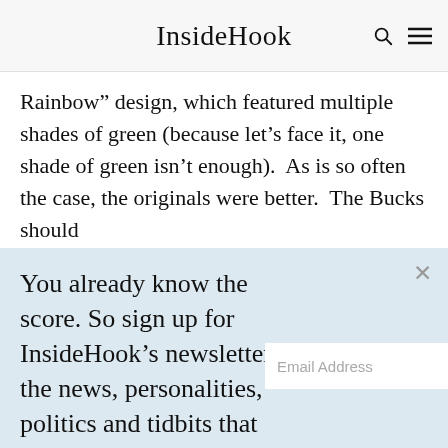InsideHook
Rainbow” design, which featured multiple shades of green (because let’s face it, one shade of green isn’t enough). As is so often the case, the originals were better. The Bucks should
You already know the score. So sign up for InsideHook’s newsletter for the news, personalities, politics and tidbits that make sports so much more than a game.